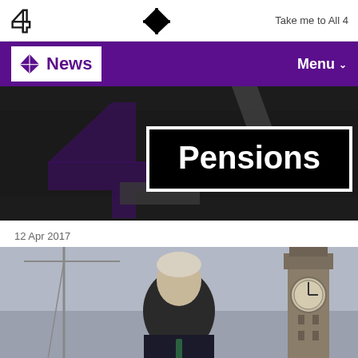Take me to All 4
4 News  Menu
[Figure (screenshot): Channel 4 News website header with purple navigation bar showing the Channel 4 logo and News branding, with a Menu button on the right.]
Pensions
12 Apr 2017
[Figure (photo): Video thumbnail showing a grey-haired man in a dark suit with a teal tie, seated in front of a London skyline featuring Big Ben and construction cranes under an overcast sky.]